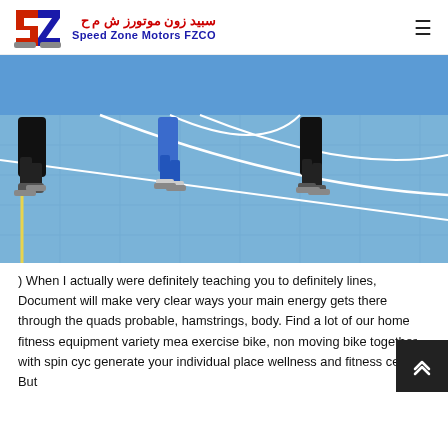سبید زون موتورز ش م ح | Speed Zone Motors FZCO
[Figure (photo): Outdoor basketball/netball court with blue surface and white/yellow lines; multiple players visible from the knees down wearing athletic shoes and socks]
) When I actually were definitely teaching you to definitely lines, Document will make very clear ways your main energy gets there through the quads probable, hamstrings, body. Find a lot of our home fitness equipment variety mea exercise bike, non moving bike together with spin cyc generate your individual place wellness and fitness center. But